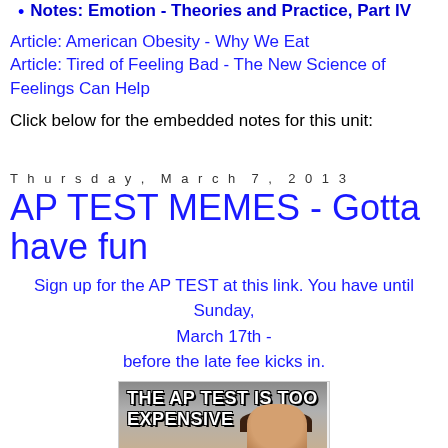Notes: Emotion - Theories and Practice, Part IV
Article: American Obesity - Why We Eat
Article: Tired of Feeling Bad - The New Science of Feelings Can Help
Click below for the embedded notes for this unit:
Thursday, March 7, 2013
AP TEST MEMES - Gotta have fun
Sign up for the AP TEST at this link. You have until Sunday, March 17th - before the late fee kicks in.
[Figure (photo): Meme image with text 'THE AP TEST IS TOO EXPENSIVE' over a photo of a person]